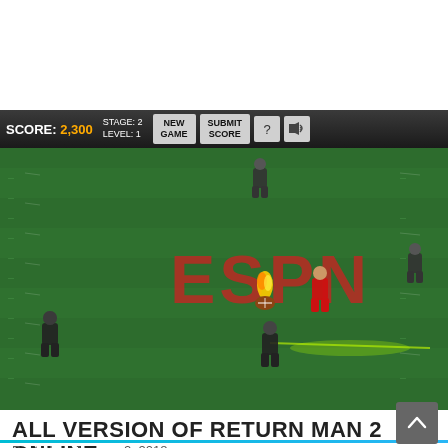[Figure (screenshot): ESPN Return Man 2 online game screenshot showing a football field from an isometric view. HUD bar at top shows SCORE: 2,300, STAGE: 2, LEVEL: 1, with buttons for NEW GAME, SUBMIT SCORE, help (?), and audio. A player in red uniform is running on the green field with ESPN watermark logo visible. Other players in dark uniforms are shown chasing. A flaming football icon is visible on the field.]
ALL VERSION OF RETURN MAN 2 ONLINE
Posted on January 2, 2018